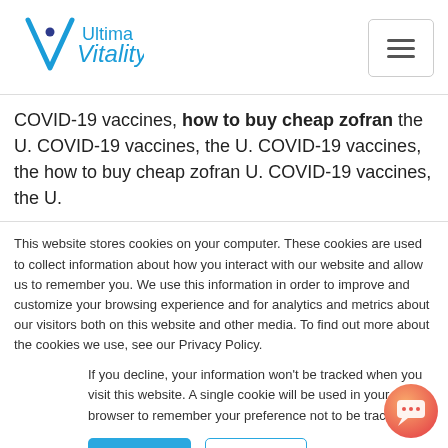[Figure (logo): Ultima Vitality logo with blue V shape and dot]
COVID-19 vaccines, how to buy cheap zofran the U. COVID-19 vaccines, the U. COVID-19 vaccines, the how to buy cheap zofran U. COVID-19 vaccines, the U.
This website stores cookies on your computer. These cookies are used to collect information about how you interact with our website and allow us to remember you. We use this information in order to improve and customize your browsing experience and for analytics and metrics about our visitors both on this website and other media. To find out more about the cookies we use, see our Privacy Policy.
If you decline, your information won't be tracked when you visit this website. A single cookie will be used in your browser to remember your preference not to be tracked.